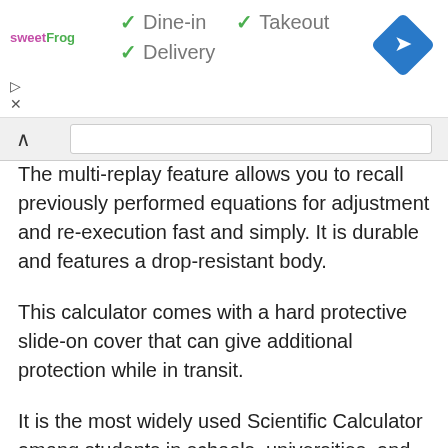[Figure (screenshot): Advertisement banner for sweetFrog restaurant showing dine-in, takeout, and delivery options with checkmarks, and a navigation diamond icon]
The multi-replay feature allows you to recall previously performed equations for adjustment and re-execution fast and simply. It is durable and features a drop-resistant body.
This calculator comes with a hard protective slide-on cover that can give additional protection while in transit.
It is the most widely used Scientific Calculator among students in schools, universities, and institutions worldwide.